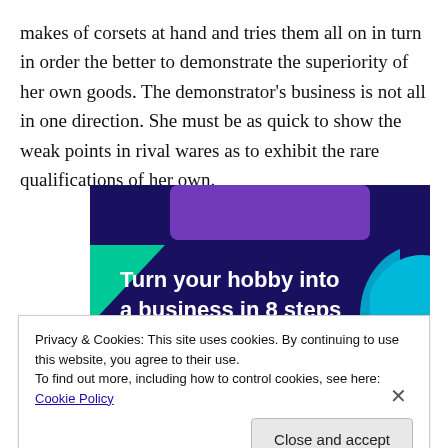makes of corsets at hand and tries them all on in turn in order the better to demonstrate the superiority of her own goods. The demonstrator's business is not all in one direction. She must be as quick to show the weak points in rival wares as to exhibit the rare qualifications of her own.
[Figure (illustration): Dark purple/navy advertisement banner with geometric shapes (green triangle, purple rectangle, cyan arc). White bold text reads 'Turn your hobby into a business in 8 steps'.]
Privacy & Cookies: This site uses cookies. By continuing to use this website, you agree to their use.
To find out more, including how to control cookies, see here: Cookie Policy